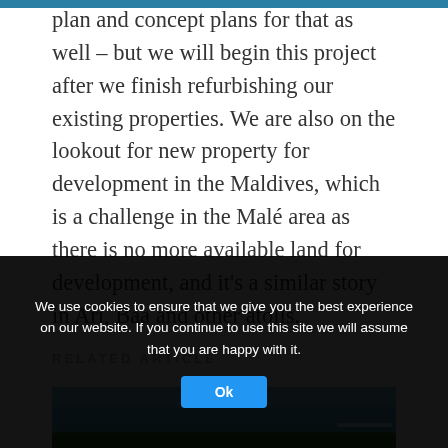plan and concept plans for that as well – but we will begin this project after we finish refurbishing our existing properties. We are also on the lookout for new property for development in the Maldives, which is a challenge in the Malé area as there is no more available land for development, and it's a similar story in Ari, Baa and other atolls.
RELATED ARTICLE
[Figure (photo): Partial view of a tropical island or coastal scene with blue sky, trees visible at the horizon line]
We use cookies to ensure that we give you the best experience on our website. If you continue to use this site we will assume that you are happy with it.